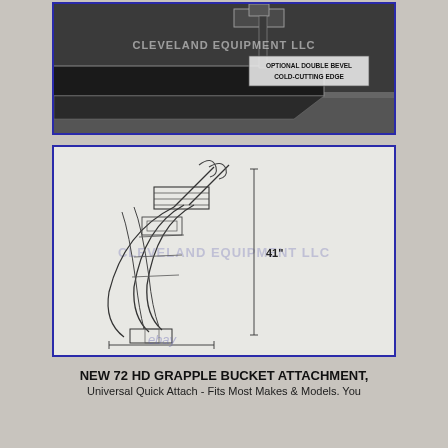[Figure (photo): Close-up photo of a steel cutting edge/blade attachment with a label reading 'OPTIONAL DOUBLE BEVEL COLD-CUTTING EDGE' and a watermark 'CLEVELAND EQUIPMENT LLC']
[Figure (engineering-diagram): Technical line drawing/schematic of a grapple bucket attachment showing side profile with dimension '41"' marked on the right side, with 'CLEVELAND EQUIPMENT LLC' watermark and 'ebay' watermark at bottom]
NEW 72 HD GRAPPLE BUCKET ATTACHMENT, Universal Quick Attach - Fits Most Makes & Models. You